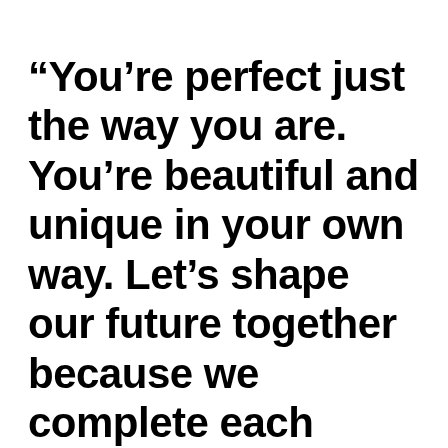“You’re perfect just the way you are. You’re beautiful and unique in your own way. Let’s shape our future together because we complete each